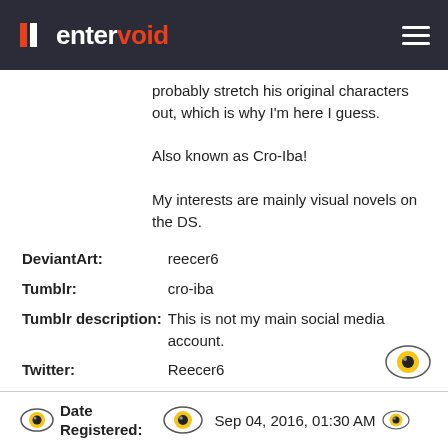entervoid
probably stretch his original characters out, which is why I'm here I guess.

Also known as Cro-Iba!

My interests are mainly visual novels on the DS.
| DeviantArt: | reecer6 |
| Tumblr: | cro-iba |
| Tumblr description: | This is not my main social media account. |
| Twitter: | Reecer6 |
| Twitter description: | This is now my main social media account. |
Date Registered:
Sep 04, 2016, 01:30 AM